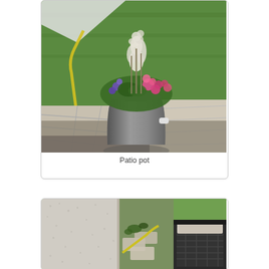[Figure (photo): Outdoor patio scene with a tall cylindrical gray planter filled with colorful flowers including pink blooms and white fluffy grasses, set on stone pavers with a green lawn in the background and a yellow hose nearby.]
Patio pot
[Figure (photo): Outdoor patio area showing a textured white stucco wall on the left, stone pavers in the center with a yellow hose, green grass, and a dark wicker/rattan outdoor furniture piece on the right.]